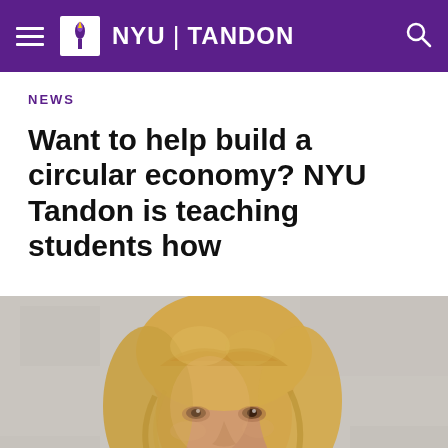NYU TANDON
NEWS
Want to help build a circular economy? NYU Tandon is teaching students how
[Figure (photo): Portrait photo of a person with medium-length wavy blonde hair against a light grey textured wall background, photographed from the shoulders up.]